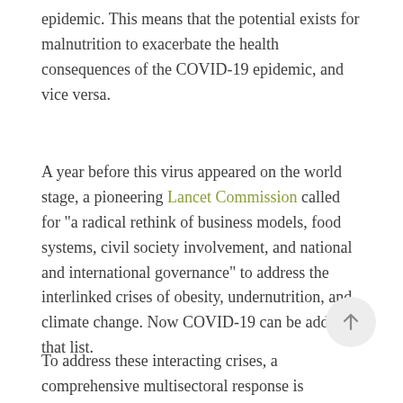epidemic. This means that the potential exists for malnutrition to exacerbate the health consequences of the COVID-19 epidemic, and vice versa.
A year before this virus appeared on the world stage, a pioneering Lancet Commission called for “a radical rethink of business models, food systems, civil society involvement, and national and international governance” to address the interlinked crises of obesity, undernutrition, and climate change. Now COVID-19 can be added to that list.
To address these interacting crises, a comprehensive multisectoral response is